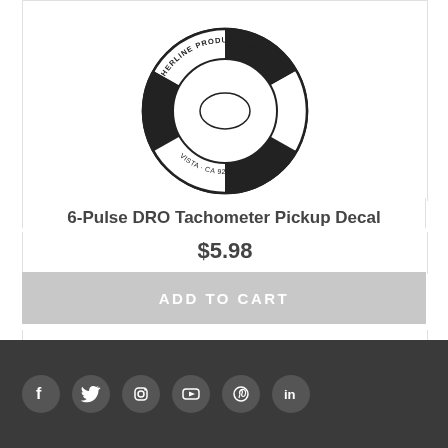[Figure (illustration): Black and white circular decal for Sherline Products Inc., Vista CA 92081, used as a 6-Pulse DRO Tachometer Pickup Decal. The decal is round with alternating black and white segments and a center circle.]
6-Pulse DRO Tachometer Pickup Decal
$5.98
ADD TO CART
Add to Wishlist
Social media icons: Facebook, Twitter, Instagram, YouTube, Pinterest, LinkedIn